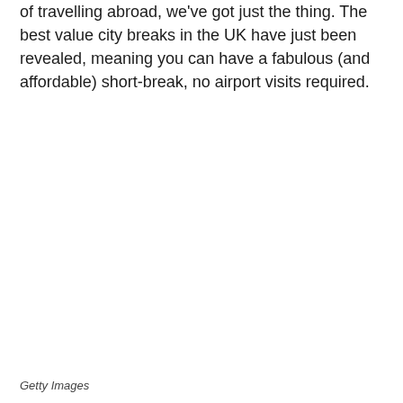of travelling abroad, we've got just the thing. The best value city breaks in the UK have just been revealed, meaning you can have a fabulous (and affordable) short-break, no airport visits required.
Getty Images